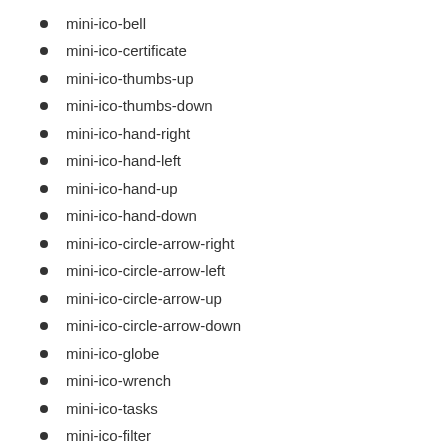mini-ico-bell
mini-ico-certificate
mini-ico-thumbs-up
mini-ico-thumbs-down
mini-ico-hand-right
mini-ico-hand-left
mini-ico-hand-up
mini-ico-hand-down
mini-ico-circle-arrow-right
mini-ico-circle-arrow-left
mini-ico-circle-arrow-up
mini-ico-circle-arrow-down
mini-ico-globe
mini-ico-wrench
mini-ico-tasks
mini-ico-filter
mini-ico-briefcase
mini-ico-fullscreen